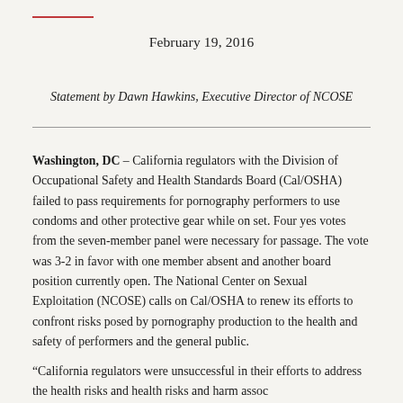February 19, 2016
Statement by Dawn Hawkins, Executive Director of NCOSE
Washington, DC – California regulators with the Division of Occupational Safety and Health Standards Board (Cal/OSHA) failed to pass requirements for pornography performers to use condoms and other protective gear while on set. Four yes votes from the seven-member panel were necessary for passage. The vote was 3-2 in favor with one member absent and another board position currently open. The National Center on Sexual Exploitation (NCOSE) calls on Cal/OSHA to renew its efforts to confront risks posed by pornography production to the health and safety of performers and the general public.
“California regulators were unsuccessful in their efforts to address the...